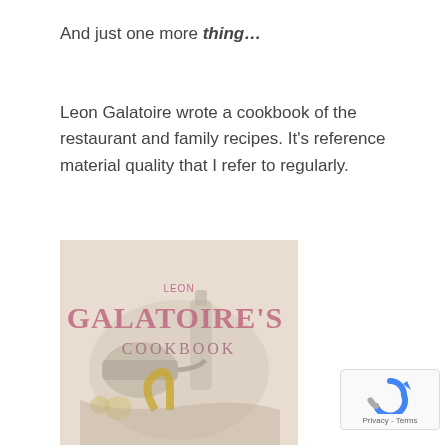And just one more thing…
Leon Galatoire wrote a cookbook of the restaurant and family recipes. It's reference material quality that I refer to regularly.
[Figure (photo): Book cover of 'Leon Galatoire's Cookbook' showing a still-life illustration of kitchen items including bottles, a pan, and a horseshoe-shaped object, with faded muted colors.]
[Figure (logo): Google reCAPTCHA badge with spinning arrow icon and 'Privacy - Terms' text below.]